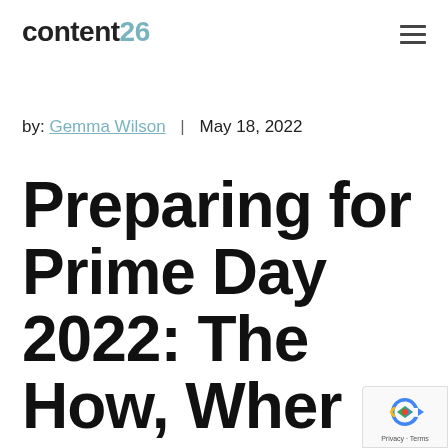content26
by: Gemma Wilson | May 18, 2022
Preparing for Prime Day 2022: The How, When and Why